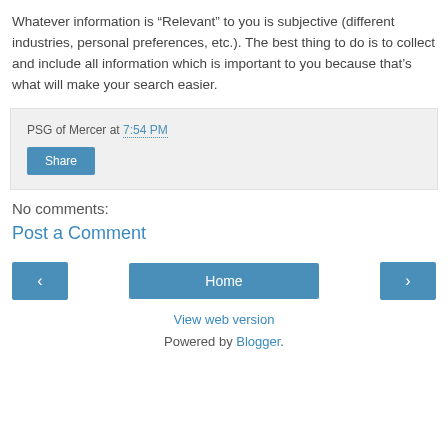Whatever information is “Relevant” to you is subjective (different industries, personal preferences, etc.). The best thing to do is to collect and include all information which is important to you because that’s what will make your search easier.
PSG of Mercer at 7:54 PM
Share
No comments:
Post a Comment
‹
Home
›
View web version
Powered by Blogger.